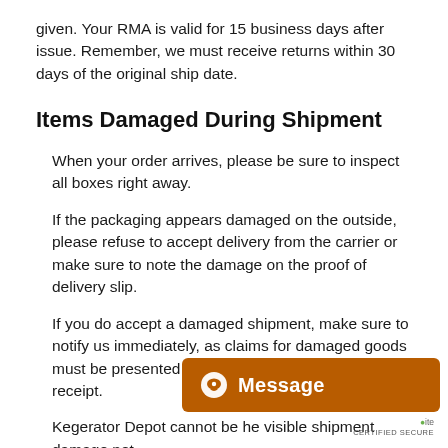given. Your RMA is valid for 15 business days after issue. Remember, we must receive returns within 30 days of the original ship date.
Items Damaged During Shipment
When your order arrives, please be sure to inspect all boxes right away.
If the packaging appears damaged on the outside, please refuse to accept delivery from the carrier or make sure to note the damage on the proof of delivery slip.
If you do accept a damaged shipment, make sure to notify us immediately, as claims for damaged goods must be presented to the carrier within 24 hours of receipt.
Kegerator Depot cannot be he[ld responsible for] visible shipment damage not [reported to]...